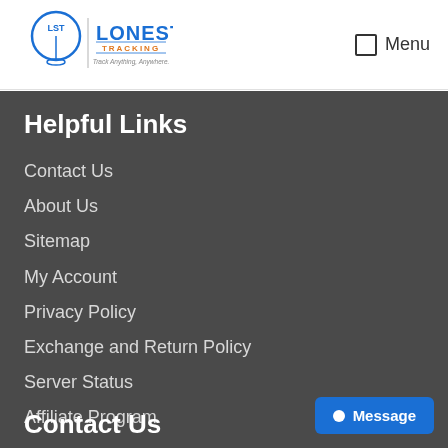[Figure (logo): Lonestar Tracking logo with location pin icon and text 'Track Anything, Anywhere.']
Menu
Helpful Links
Contact Us
About Us
Sitemap
My Account
Privacy Policy
Exchange and Return Policy
Server Status
Affiliate Program
Contact Us